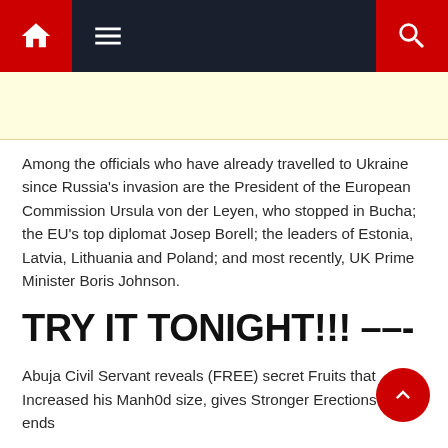Navigation bar with home, menu, and search icons
[Figure (other): Advertisement banner with light yellow background]
Among the officials who have already travelled to Ukraine since Russia's invasion are the President of the European Commission Ursula von der Leyen, who stopped in Bucha; the EU's top diplomat Josep Borell; the leaders of Estonia, Latvia, Lithuania and Poland; and most recently, UK Prime Minister Boris Johnson.
TRY IT TONIGHT!!! ––-
Abuja Civil Servant reveals (FREE) secret Fruits that Increased his Manh0d size, gives Stronger Erections and ends